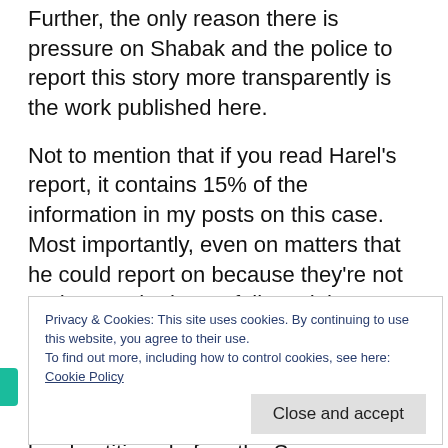Further, the only reason there is pressure on Shabak and the police to report this story more transparently is the work published here.
Not to mention that if you read Harel’s report, it contains 15% of the information in my posts on this case. Most importantly, even on matters that he could report on because they’re not under gag, he hasn’t followed the threads I’ve been able to stitch together (notably the connection between “progress” being made on the case and the pressure placed on Shabak by two legal petitions before the Supreme Court).
Privacy & Cookies: This site uses cookies. By continuing to use this website, you agree to their use.
To find out more, including how to control cookies, see here: Cookie Policy
Virtually no one takes them to task, allowing them to get